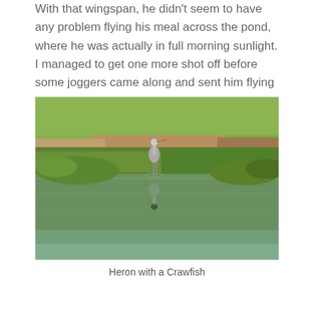With that wingspan, he didn't seem to have any problem flying his meal across the pond, where he was actually in full morning sunlight. I managed to get one more shot off before some joggers came along and sent him flying again.
[Figure (photo): A heron standing at the edge of a green pond with lush grassy banks. The bird is reflected in the calm green water below. The scene is in warm morning light.]
Heron with a Crawfish